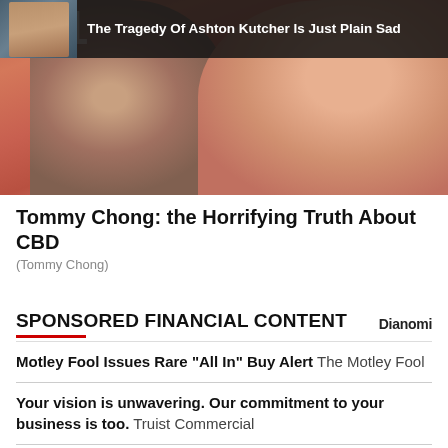[Figure (photo): Photo of two people (man with white beard and woman with blonde hair) on a red/pink background, with an overlay ad showing Ashton Kutcher thumbnail and headline 'The Tragedy Of Ashton Kutcher Is Just Plain Sad']
Tommy Chong: the Horrifying Truth About CBD
(Tommy Chong)
SPONSORED FINANCIAL CONTENT
Motley Fool Issues Rare "All In" Buy Alert  The Motley Fool
Your vision is unwavering. Our commitment to your business is too.  Truist Commercial
5 Things for Every American to Do Before the Recession Hits  The Penny Hoarder